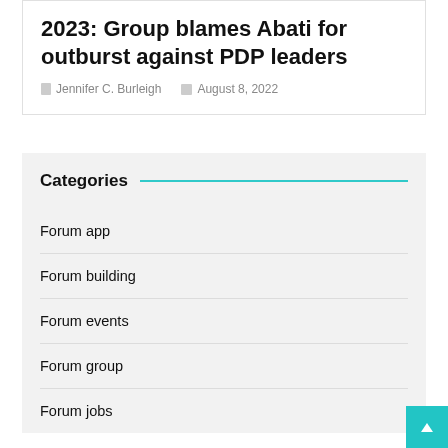2023: Group blames Abati for outburst against PDP leaders
Jennifer C. Burleigh   August 8, 2022
Categories
Forum app
Forum building
Forum events
Forum group
Forum jobs